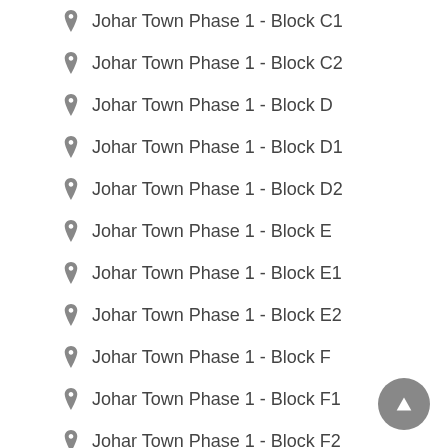Johar Town Phase 1 - Block C1
Johar Town Phase 1 - Block C2
Johar Town Phase 1 - Block D
Johar Town Phase 1 - Block D1
Johar Town Phase 1 - Block D2
Johar Town Phase 1 - Block E
Johar Town Phase 1 - Block E1
Johar Town Phase 1 - Block E2
Johar Town Phase 1 - Block F
Johar Town Phase 1 - Block F1
Johar Town Phase 1 - Block F2
Johar Town Phase 1 - Block G
Johar Town Phase 1 - Block G1